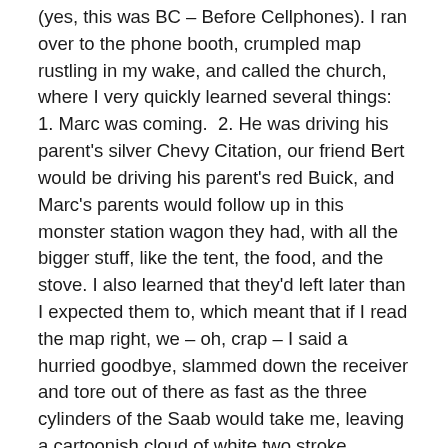(yes, this was BC – Before Cellphones). I ran over to the phone booth, crumpled map rustling in my wake, and called the church, where I very quickly learned several things: 1. Marc was coming.  2. He was driving his parent's silver Chevy Citation, our friend Bert would be driving his parent's red Buick, and Marc's parents would follow up in this monster station wagon they had, with all the bigger stuff, like the tent, the food, and the stove. I also learned that they'd left later than I expected them to, which meant that if I read the map right, we – oh, crap – I said a hurried goodbye, slammed down the receiver and tore out of there as fast as the three cylinders of the Saab would take me, leaving a cartoonish cloud of white two stroke exhaust in my wake…
It looked like we might actually be able make this…